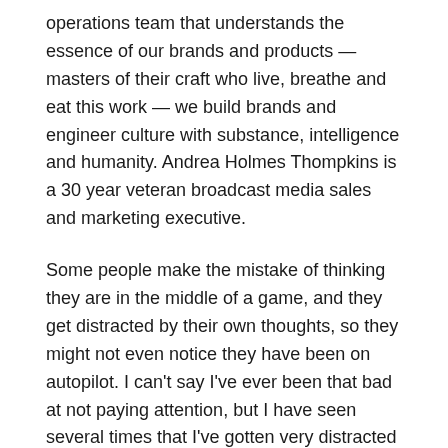operations team that understands the essence of our brands and products — masters of their craft who live, breathe and eat this work — we build brands and engineer culture with substance, intelligence and humanity. Andrea Holmes Thompkins is a 30 year veteran broadcast media sales and marketing executive.
Some people make the mistake of thinking they are in the middle of a game, and they get distracted by their own thoughts, so they might not even notice they have been on autopilot. I can't say I've ever been that bad at not paying attention, but I have seen several times that I've gotten very distracted when I should've just been paying attention to my surroundings. The company's line of business includes the wholesale distribution of electronic parts and electronic communications equipment. Previous experience in an agency environment highly desired.